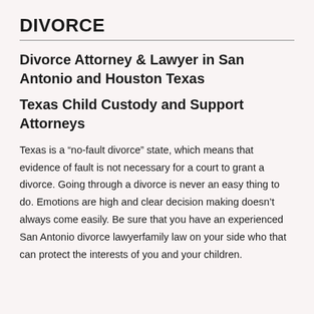DIVORCE
Divorce Attorney & Lawyer in San Antonio and Houston Texas
Texas Child Custody and Support Attorneys
Texas is a “no-fault divorce” state, which means that evidence of fault is not necessary for a court to grant a divorce. Going through a divorce is never an easy thing to do. Emotions are high and clear decision making doesn’t always come easily. Be sure that you have an experienced San Antonio divorce lawyerfamily law on your side who that can protect the interests of you and your children.